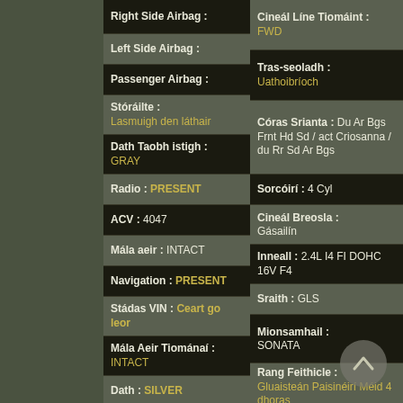Right Side Airbag :
Left Side Airbag :
Passenger Airbag :
Stóráilte : Lasmuigh den láthair
Dath Taobh istigh : GRAY
Radio : PRESENT
ACV : 4047
Mála aeir : INTACT
Navigation : PRESENT
Stádas VIN : Ceart go leor
Mála Aeir Tiománaí : INTACT
Dath : SILVER
Rear Entertainment :
Cineál Líne Tiomáint : FWD
Tras-seoladh : Uathoibríoch
Córas Srianta : Du Ar Bgs Frnt Hd Sd / act Criosanna / du Rr Sd Ar Bgs
Sorcóirí : 4 Cyl
Cineál Breosla : Gásailín
Inneall : 2.4L I4 FI DOHC 16V F4
Sraith : GLS
Mionsamhail : SONATA
Rang Feithicle : Gluaisteán Paisinéirí Méid 4 dhoras